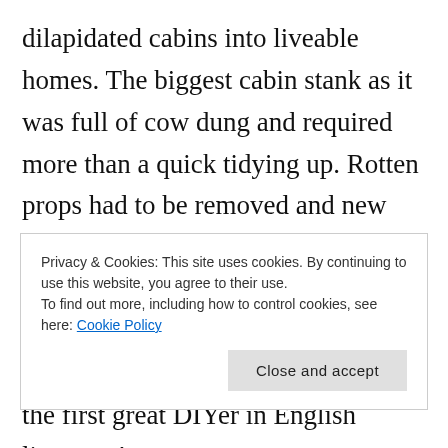dilapidated cabins into liveable homes. The biggest cabin stank as it was full of cow dung and required more than a quick tidying up. Rotten props had to be removed and new ones erected in order to stop the structure from collapsing. This is why Geoff Dyer in Out of Sheer Rage describes Lawrence as 'perhaps the first great DIYer in English literature'.
Privacy & Cookies: This site uses cookies. By continuing to use this website, you agree to their use. To find out more, including how to control cookies, see here: Cookie Policy
Close and accept